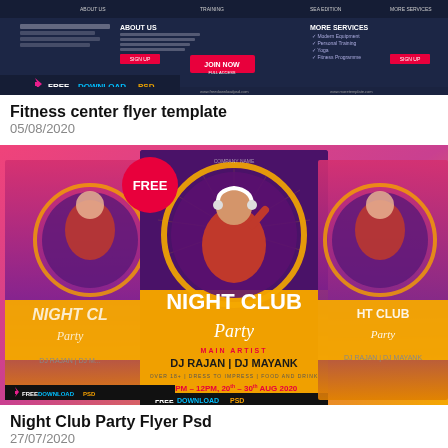[Figure (screenshot): Fitness center website flyer template preview showing dark blue navigation with ABOUT US and MORE SERVICES sections, JOIN NOW button, and FREEDOWNLOADPSD watermark]
Fitness center flyer template
05/08/2020
[Figure (photo): Night Club Party Flyer PSD preview showing three overlapping flyers with a woman wearing headphones in a red sweater, purple/orange gradient design, text: NIGHT CLUB Party, MAIN ARTIST, DJ RAJAN | DJ MAYANK, 6PM - 12PM, 20th - 30th Aug 2020, FREE badge, FREEDOWNLOADPSD watermark]
Night Club Party Flyer Psd
27/07/2020